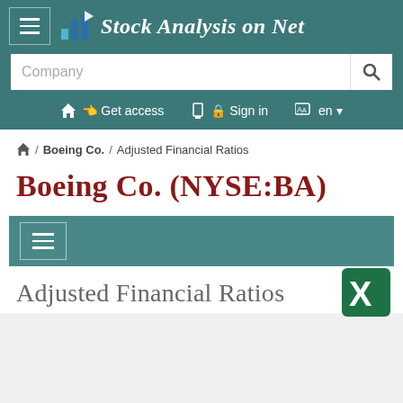Stock Analysis on Net
Company (search bar)
Get access / Sign in / en
🏠 / Boeing Co. / Adjusted Financial Ratios
Boeing Co. (NYSE:BA)
Adjusted Financial Ratios
[Figure (screenshot): Excel export icon in bottom right corner]